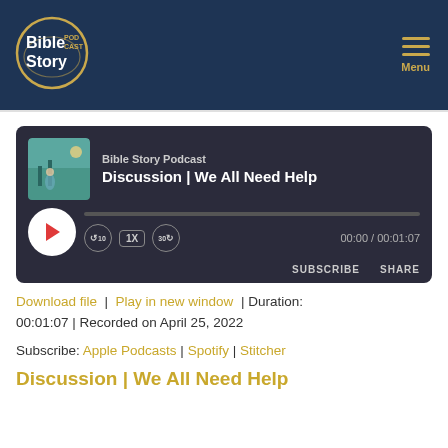Bible Story Podcast — Menu
[Figure (screenshot): Audio player with album art, episode title 'Discussion | We All Need Help', progress bar, controls (rewind 10, 1X speed, forward 30), time 00:00 / 00:01:07, Subscribe and Share buttons]
Download file | Play in new window | Duration: 00:01:07 | Recorded on April 25, 2022
Subscribe: Apple Podcasts | Spotify | Stitcher
Discussion | We All Need Help